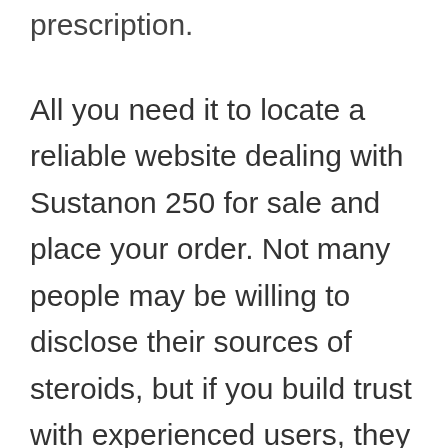prescription.
All you need it to locate a reliable website dealing with Sustanon 250 for sale and place your order. Not many people may be willing to disclose their sources of steroids, but if you build trust with experienced users, they may give you reliable leads.
You may also try outsourcing the steroid of your choice from the overseas market. For instance, various international